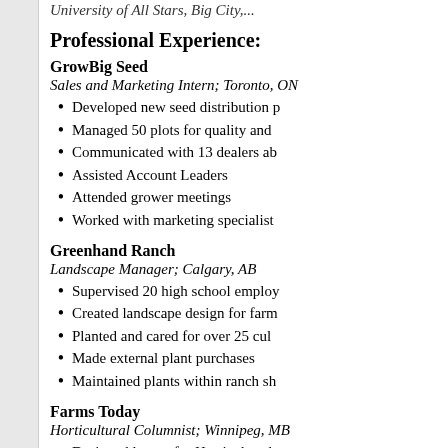University of All Stars, Big City, ...
Professional Experience:
GrowBig Seed
Sales and Marketing Intern; Toronto, ON
Developed new seed distribution p
Managed 50 plots for quality and
Communicated with 13 dealers ab
Assisted Account Leaders
Attended grower meetings
Worked with marketing specialist
Greenhand Ranch
Landscape Manager; Calgary, AB
Supervised 20 high school employ
Created landscape design for farm
Planted and cared for over 25 cul
Made external plant purchases
Maintained plants within ranch sh
Farms Today
Horticultural Columnist; Winnipeg, MB
Designed layout for Horticultural
Wrote two articles a week advisi